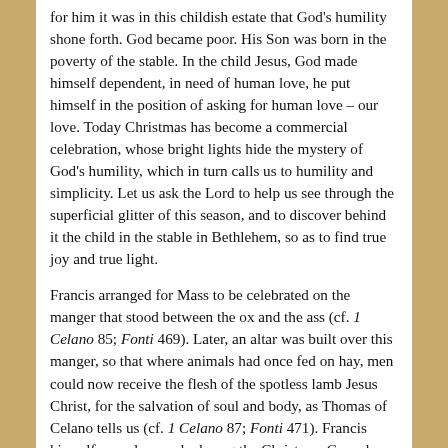for him it was in this childish estate that God's humility shone forth. God became poor. His Son was born in the poverty of the stable. In the child Jesus, God made himself dependent, in need of human love, he put himself in the position of asking for human love – our love. Today Christmas has become a commercial celebration, whose bright lights hide the mystery of God's humility, which in turn calls us to humility and simplicity. Let us ask the Lord to help us see through the superficial glitter of this season, and to discover behind it the child in the stable in Bethlehem, so as to find true joy and true light.
Francis arranged for Mass to be celebrated on the manger that stood between the ox and the ass (cf. 1 Celano 85; Fonti 469). Later, an altar was built over this manger, so that where animals had once fed on hay, men could now receive the flesh of the spotless lamb Jesus Christ, for the salvation of soul and body, as Thomas of Celano tells us (cf. 1 Celano 87; Fonti 471). Francis himself, as a deacon, had sung the Christmas Gospel on the